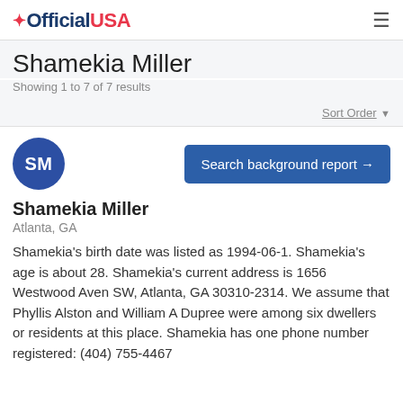OfficialUSA
Shamekia Miller
Showing 1 to 7 of 7 results
Sort Order
[Figure (illustration): Blue circular avatar with initials SM]
Search background report →
Shamekia Miller
Atlanta, GA
Shamekia's birth date was listed as 1994-06-1. Shamekia's age is about 28. Shamekia's current address is 1656 Westwood Aven SW, Atlanta, GA 30310-2314. We assume that Phyllis Alston and William A Dupree were among six dwellers or residents at this place. Shamekia has one phone number registered: (404) 755-4467